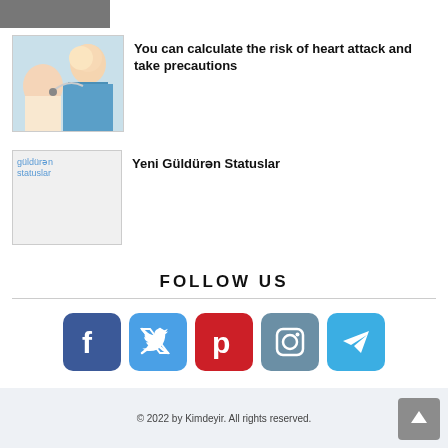[Figure (photo): Top image strip, partially visible]
[Figure (photo): Doctor examining a patient (woman with stethoscope)]
You can calculate the risk of heart attack and take precautions
[Figure (photo): Placeholder image for güldürən statuslar]
Yeni Güldürən Statuslar
FOLLOW US
[Figure (infographic): Social media icons: Facebook, Twitter, Pinterest, Instagram, Telegram]
© 2022 by Kimdeyir. All rights reserved.